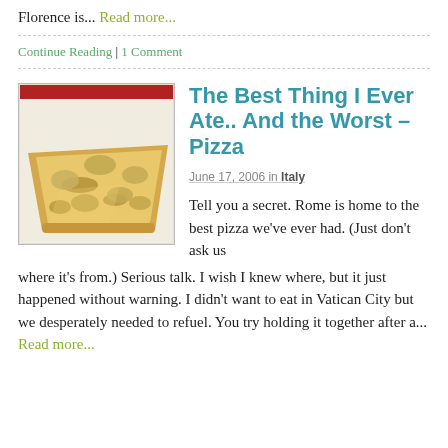Florence is... Read more...
Continue Reading | 1 Comment
The Best Thing I Ever Ate.. And the Worst – Pizza
June 17, 2006 in Italy
[Figure (photo): A rectangular piece of flatbread/pizza topped with melted cheese and potato slices on a white surface]
Tell you a secret. Rome is home to the best pizza we've ever had. (Just don't ask us where it's from.) Serious talk. I wish I knew where, but it just happened without warning. I didn't want to eat in Vatican City but we desperately needed to refuel. You try holding it together after a... Read more...